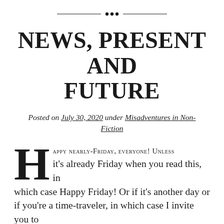[Figure (illustration): Decorative ornamental divider with horizontal lines and small diamond/dot cluster in center]
NEWS, PRESENT AND FUTURE
Posted on July 30, 2020 under Misadventures in Non-Fiction
Happy nearly-Friday, everyone! Unless it's already Friday when you read this, in which case Happy Friday! Or if it's another day or if you're a time-traveler, in which case I invite you to